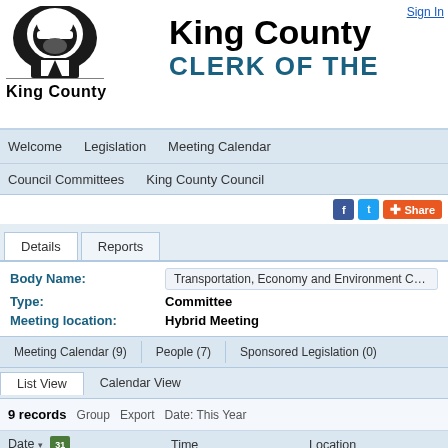[Figure (logo): King County logo - stylized face silhouette in black and white square, with 'King County' text below]
King County CLERK OF THE
Sign In
Welcome   Legislation   Meeting Calendar   Council Committees   King County Council
[Figure (infographic): Social sharing icons: Facebook, Twitter, and Share button]
Details   Reports
Body Name: Transportation, Economy and Environment Committe...
Type: Committee
Meeting location: Hybrid Meeting
Meeting Calendar (9)   People (7)   Sponsored Legislation (0)
List View   Calendar View
9 records   Group   Export   Date: This Year
| Date |  | Time | Location | Meeting |
| --- | --- | --- | --- | --- |
|  |  |  |  |  |